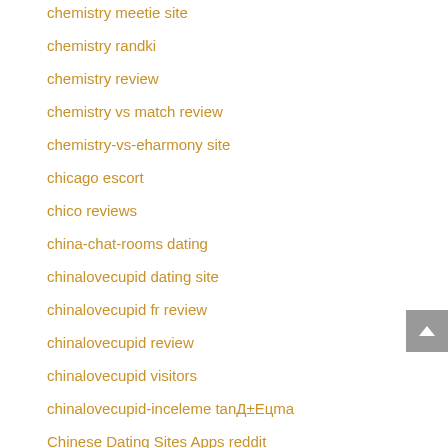chemistry meetie site
chemistry randki
chemistry review
chemistry vs match review
chemistry-vs-eharmony site
chicago escort
chico reviews
china-chat-rooms dating
chinalovecupid dating site
chinalovecupid fr review
chinalovecupid review
chinalovecupid visitors
chinalovecupid-inceleme tanД±Eцma
Chinese Dating Sites Apps reddit
ChnLove review